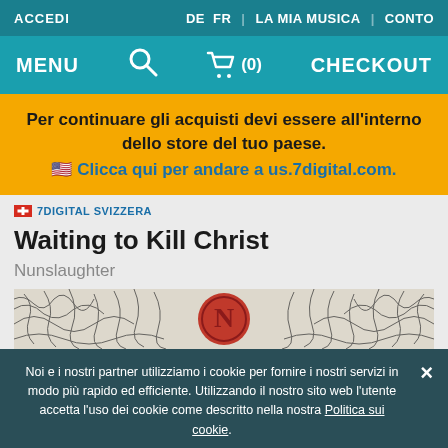ACCEDI | DE | FR | LA MIA MUSICA | CONTO
MENU | (search icon) | (cart 0) | CHECKOUT
Per continuare gli acquisti devi essere all'interno dello store del tuo paese. 🇺🇸 Clicca qui per andare a us.7digital.com.
🇨🇭 7DIGITAL SVIZZERA
Waiting to Kill Christ
Nunslaughter
[Figure (illustration): Partial album art showing ornate black and white linework with a red circular emblem in the center]
Noi e i nostri partner utilizziamo i cookie per fornire i nostri servizi in modo più rapido ed efficiente. Utilizzando il nostro sito web l'utente accetta l'uso dei cookie come descritto nella nostra Politica sui cookie.